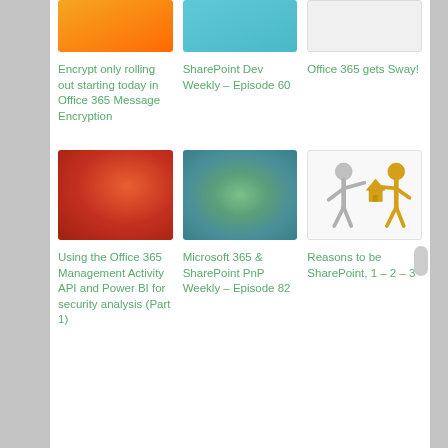[Figure (illustration): Orange gradient thumbnail image for Office 365 Message Encryption article]
[Figure (illustration): Teal/cyan gradient thumbnail for SharePoint Dev Weekly Episode 60 article]
[Figure (illustration): White/light gray thumbnail for Office 365 gets Sway article]
Encrypt only rolling out starting today in Office 365 Message Encryption
SharePoint Dev Weekly – Episode 60
Office 365 gets Sway!
[Figure (illustration): Red/orange textured thumbnail for Office 365 Management Activity API article]
[Figure (illustration): Green/teal textured thumbnail for Microsoft 365 & SharePoint PnP Weekly Episode 82 article]
[Figure (illustration): Two cartoon stick figures (silver and gold) exchanging a house, thumbnail for Reasons to be SharePoint article]
Using the Office 365 Management Activity API and Power BI for security analysis (Part 1)
Microsoft 365 & SharePoint PnP Weekly – Episode 82
Reasons to be SharePoint, 1 – 2 – 3